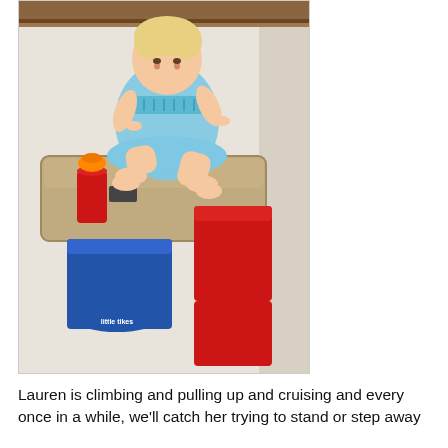[Figure (photo): A baby girl in a light blue dress sitting on top of a Little Tikes children's activity table, with a red sippy cup with orange lid on the table beside her. The baby has blonde hair and bare feet. The table is beige/tan colored with a blue base and red bench seat. The setting is indoors with light-colored walls and a wooden chair rail visible at the top.]
Lauren is climbing and pulling up and cruising and every once in a while, we'll catch her trying to stand or step away from what she's holding on to, but still…not brave enough to